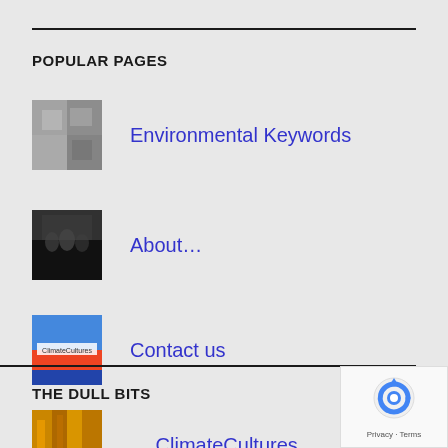POPULAR PAGES
Environmental Keywords
About…
Contact us
… ClimateCultures
THE DULL BITS
[Figure (logo): reCAPTCHA privacy badge with recycling arrow icon, Privacy · Terms text]